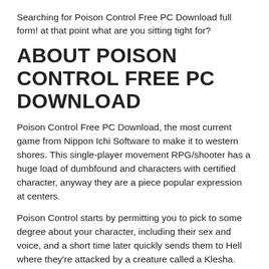Searching for Poison Control Free PC Download full form! at that point what are you sitting tight for?
ABOUT POISON CONTROL FREE PC DOWNLOAD
Poison Control Free PC Download, the most current game from Nippon Ichi Software to make it to western shores. This single-player movement RPG/shooter has a huge load of dumbfound and characters with certified character, anyway they are a piece popular expression at centers.
Poison Control starts by permitting you to pick to some degree about your character, including their sex and voice, and a short time later quickly sends them to Hell where they're attacked by a creature called a Klesha. Regardless, its OK, because while most of these monsters seem, by all accounts, to be resolved to murdering this human who has